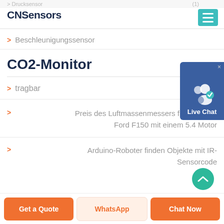Drucksensor
CNSensors
> Beschleunigungssensor
CO2-Monitor
> tragbar (2)
> Preis des Luftmassenmessers für einen 02 Ford F150 mit einem 5.4 Motor
> Arduino-Roboter finden Objekte mit IR-Sensorcode
[Figure (screenshot): Live Chat widget with user icon and blue background]
Get a Quote | WhatsApp | Chat Now